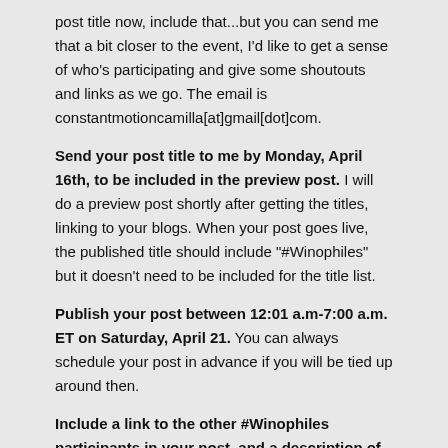post title now, include that...but you can send me that a bit closer to the event, I'd like to get a sense of who's participating and give some shoutouts and links as we go. The email is constantmotioncamilla[at]gmail[dot]com.
Send your post title to me by Monday, April 16th, to be included in the preview post. I will do a preview post shortly after getting the titles, linking to your blogs. When your post goes live, the published title should include "#Winophiles" but it doesn't need to be included for the title list.
Publish your post between 12:01 a.m-7:00 a.m. ET on Saturday, April 21. You can always schedule your post in advance if you will be tied up around then.
Include a link to the other #Winophiles participants in your post, and a description of what the event is about. I'll provide the html code you can easily put in your initial post--which will link to people's general blog url--then updated code for the permanent links to everyone's #Winophiles posts.
Get social! After the posts go live, please visit your fellow bloggers posts' to comment and share.